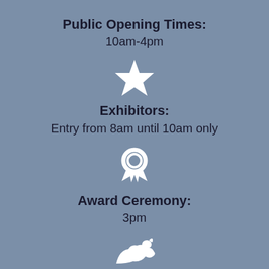Public Opening Times:
10am-4pm
[Figure (illustration): White star icon]
Exhibitors:
Entry from 8am until 10am only
[Figure (illustration): White award/ribbon badge icon]
Award Ceremony:
3pm
[Figure (illustration): White animal/dog icon partially visible at bottom]